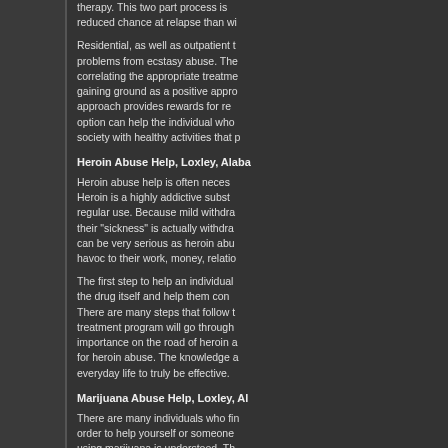therapy. This two part process is reduced chance at relapse than wi
Residential, as well as outpatient t problems from ecstasy abuse. The correlating the appropriate treatme gaining ground as a positive appro approach provides rewards for re option can help the individual who society with healthy activities that p
Heroin Abuse Help, Loxley, Alaba
Heroin abuse help is often neces Heroin is a highly addictive subst regular use. Because mild withdra their "sickness" is actually withdra can be very serious as heroin abu havoc to their work, money, relatio
The first step to help an individual the drug itself and help them con There are many steps that follow t treatment program will go through importance on the road of heroin a for heroin abuse. The knowledge a everyday life to truly be effective.
Marijuana Abuse Help, Loxley, Al
There are many individuals who fin order to help yourself or someone using marijuana is understood. Th often helpful to identify the reaso providing ideas of how to achieve example, some people abuse mar relaxing without smoking marijua enhance conversation and social i years of smoking, the quality of rel